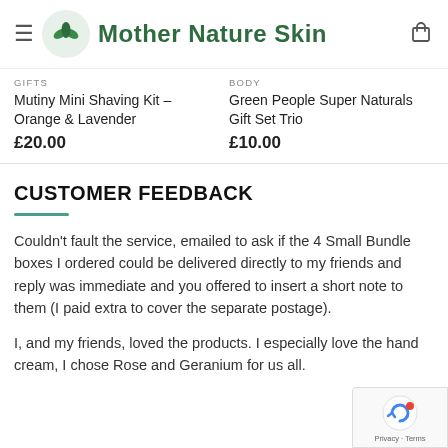Mother Nature Skin
GIFTS
Mutiny Mini Shaving Kit – Orange & Lavender
£20.00
BODY
Green People Super Naturals Gift Set Trio
£10.00
CUSTOMER FEEDBACK
Couldn't fault the service, emailed to ask if the 4 Small Bundle boxes I ordered could be delivered directly to my friends and reply was immediate and you offered to insert a short note to them (I paid extra to cover the separate postage).
I, and my friends, loved the products. I especially love the hand cream, I chose Rose and Geranium for us all.